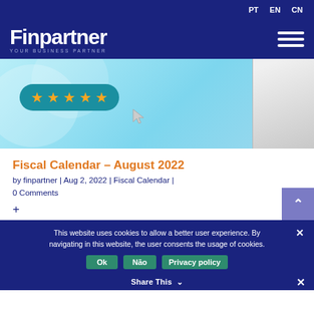PT  EN  CN
[Figure (logo): Finpartner – YOUR BUSINESS PARTNER logo on dark blue background with hamburger menu icon]
[Figure (illustration): Hero banner with light blue background, five gold stars rating badge on teal pill, cursor arrow, and partial person in white outfit on right]
Fiscal Calendar – August 2022
by finpartner | Aug 2, 2022 | Fiscal Calendar | 0 Comments
+
This website uses cookies to allow a better user experience. By navigating in this website, the user consents the usage of cookies.
Ok  Não  Privacy policy
Share This ∨  ✕